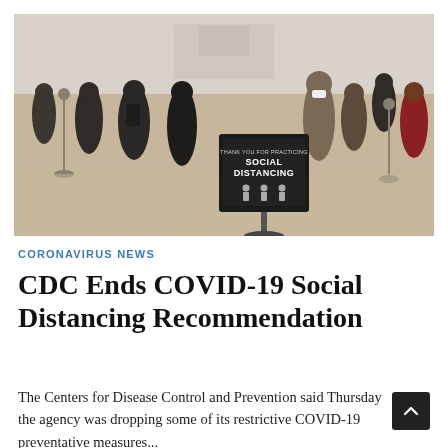[Figure (photo): Indoor public space showing people standing and walking with a social distancing sign in the foreground. Sign reads 'THANK YOU FOR PRACTICING SOCIAL DISTANCING' with icons of people spaced apart.]
CORONAVIRUS NEWS
CDC Ends COVID-19 Social Distancing Recommendation
The Centers for Disease Control and Prevention said Thursday the agency was dropping some of its restrictive COVID-19 preventative measures...